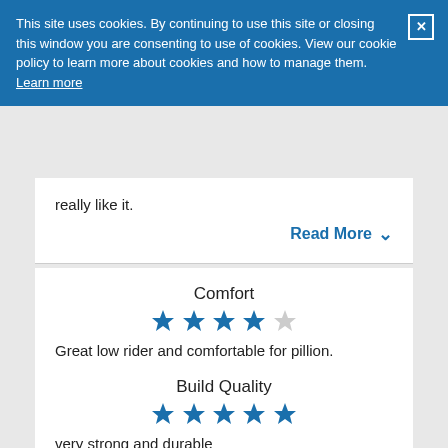This site uses cookies. By continuing to use this site or closing this window you are consenting to use of cookies. View our cookie policy to learn more about cookies and how to manage them. Learn more
really like it.
Read More
Comfort
Great low rider and comfortable for pillion.
Build Quality
very strong and durable
Brake
Great breaks.